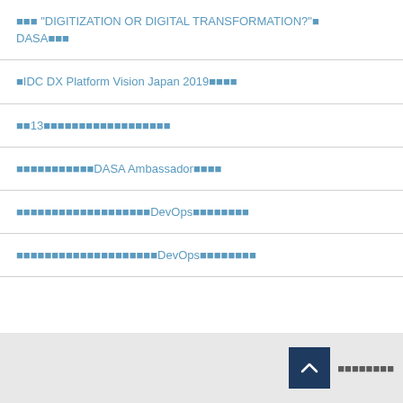■■■ "DIGITIZATION OR DIGITAL TRANSFORMATION?"■ DASA■■■
■IDC DX Platform Vision Japan 2019■■■■
■■13■■■■■■■■■■■■■■■■■■
■■■■■■■■■■■DASA Ambassador■■■■
■■■■■■■■■■■■■■■■■■■DevOps■■■■■■■■
■■■■■■■■■■■■■■■■■■■■DevOps■■■■■■■■
■■■■■■■■